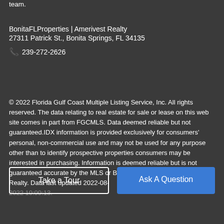team.
BonitaFLProperties | Amerivest Realty
27311 Patrick St., Bonita Springs, FL 34135
📞 239-272-2626
© 2022 Florida Gulf Coast Multiple Listing Service, Inc. All rights reserved. The data relating to real estate for sale or lease on this web site comes in part from FGCMLS. Data deemed reliable but not guaranteed.IDX information is provided exclusively for consumers' personal, non-commercial use and may not be used for any purpose other than to identify prospective properties consumers may be interested in purchasing. Information is deemed reliable but is not guaranteed accurate by the MLS or BonitaFLProperties | Amerivest Realty. Data last updated 2022-08-
Take a Tour
Ask A Question